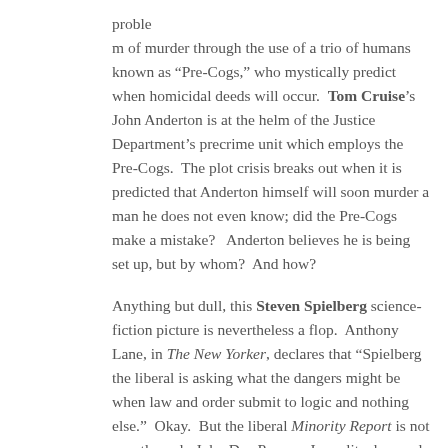proble
m of murder through the use of a trio of humans known as “Pre-Cogs,” who mystically predict when homicidal deeds will occur. Tom Cruise’s John Anderton is at the helm of the Justice Department’s precrime unit which employs the Pre-Cogs. The plot crisis breaks out when it is predicted that Anderton himself will soon murder a man he does not even know; did the Pre-Cogs make a mistake? Anderton believes he is being set up, but by whom? And how?

Anything but dull, this Steven Spielberg science-fiction picture is nevertheless a flop. Anthony Lane, in The New Yorker, declares that “Spielberg the liberal is asking what the dangers might be when law and order submit to logic and nothing else.” Okay. But the liberal Minority Report is not exactly early John Dos Passos. In reality, law and order are not always submitting to logic in the film: it is asseverated that the Pre-Cogs